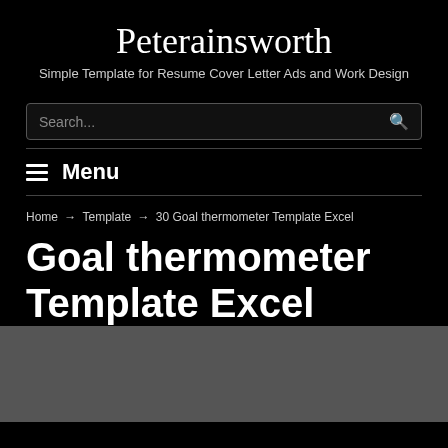Peterainsworth
Simple Template for Resume Cover Letter Ads and Work Design
Search...
≡ Menu
Home → Template → 30 Goal thermometer Template Excel
Goal thermometer Template Excel